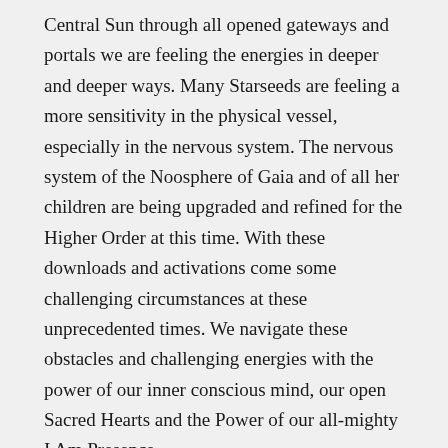Central Sun through all opened gateways and portals we are feeling the energies in deeper and deeper ways. Many Starseeds are feeling a more sensitivity in the physical vessel, especially in the nervous system. The nervous system of the Noosphere of Gaia and of all her children are being upgraded and refined for the Higher Order at this time. With these downloads and activations come some challenging circumstances at these unprecedented times. We navigate these obstacles and challenging energies with the power of our inner conscious mind, our open Sacred Hearts and the Power of our all-mighty I Am Presence.
Allow the codes and frequencies to naturally integrate into our Sacred Avatars as this all is in the process of preparing Ground crew of the 144 for the coming Quantum Leap of Consciousness into homo-luminous. This preparation for our full ascension into 5d is taking us through many timeline jumps and merges as we are integrating our multidimensional